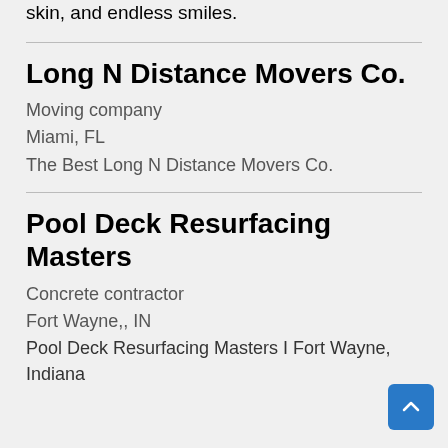skin, and endless smiles.
Long N Distance Movers Co.
Moving company
Miami, FL
The Best Long N Distance Movers Co.
Pool Deck Resurfacing Masters
Concrete contractor
Fort Wayne,, IN
Pool Deck Resurfacing Masters I Fort Wayne, Indiana